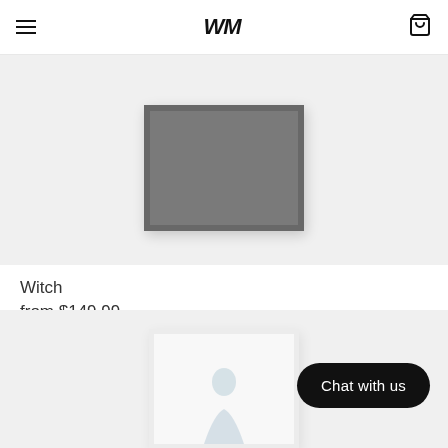WM (logo), hamburger menu, cart icon
[Figure (photo): Product photo of a dark gray framed art print on a light gray background, top portion visible]
Witch
from $149.99
[Figure (photo): Product photo of a light/white framed art print with a figure silhouette, on a light gray background, partially visible at bottom of page]
Chat with us